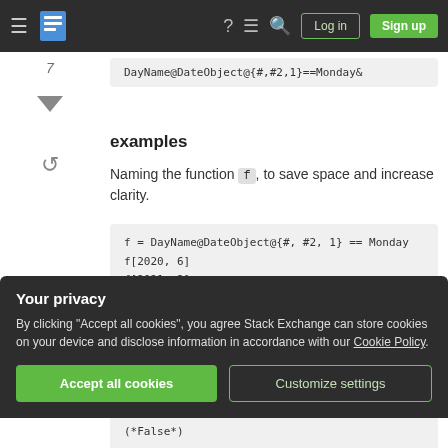Stack Exchange navigation bar with Log in and Sign up buttons
DayName@DateObject@{#,#2,1}==Monday&
examples
Naming the function f, to save space and increase clarity.
f = DayName@DateObject@{#, #2, 1} == Monday
f[2020, 6]
f[2021, 2]
f[1929, 4]
f[1969, 1]
Your privacy
By clicking "Accept all cookies", you agree Stack Exchange can store cookies on your device and disclose information in accordance with our Cookie Policy.
(*False*)